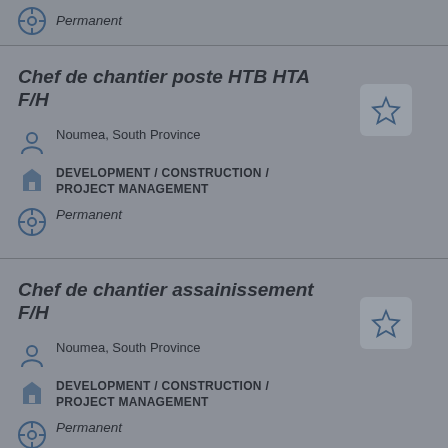Permanent
Chef de chantier poste HTB HTA F/H
Noumea, South Province
DEVELOPMENT / CONSTRUCTION / PROJECT MANAGEMENT
Permanent
Chef de chantier assainissement F/H
Noumea, South Province
DEVELOPMENT / CONSTRUCTION / PROJECT MANAGEMENT
Permanent